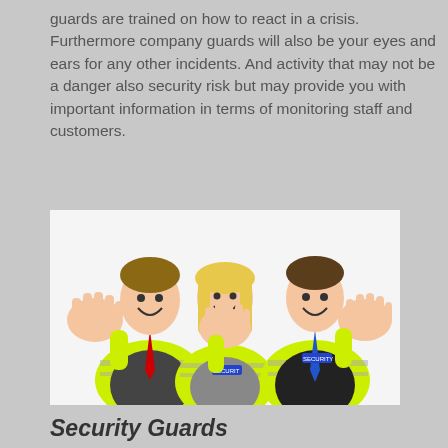guards are trained on how to react in a crisis. Furthermore company guards will also be your eyes and ears for any other incidents. And activity that may not be a danger also security risk but may provide you with important information in terms of monitoring staff and customers.
[Figure (photo): Three smiling security guards in yellow high-visibility vests with hands raised, two men and one woman, against a white background.]
Security Guards